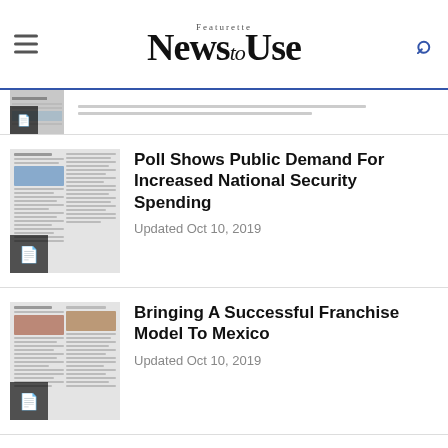Featurette News to Use
[Figure (screenshot): Partial article thumbnail at top (cropped), partially visible]
Poll Shows Public Demand For Increased National Security Spending
Updated Oct 10, 2019
Bringing A Successful Franchise Model To Mexico
Updated Oct 10, 2019
Raising Awareness About School...